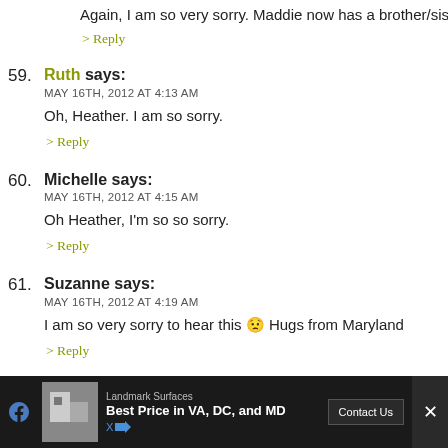Again, I am so very sorry. Maddie now has a brother/sis
> Reply
59. Ruth says: MAY 16TH, 2012 AT 4:13 AM
Oh, Heather. I am so sorry.
> Reply
60. Michelle says: MAY 16TH, 2012 AT 4:15 AM
Oh Heather, I'm so so sorry.
> Reply
61. Suzanne says: MAY 16TH, 2012 AT 4:19 AM
I am so very sorry to hear this 😟 Hugs from Maryland
> Reply
[Figure (infographic): Advertisement bar at bottom: Landmark Surfaces, Best Price in VA, DC, and MD, Contact Us button]